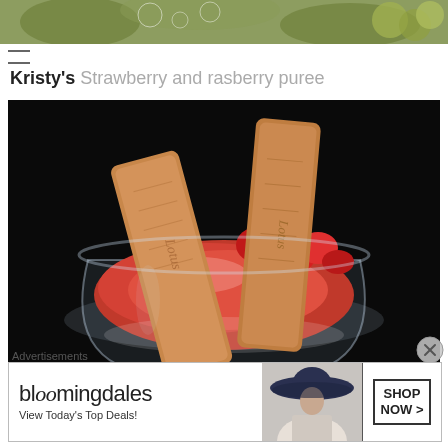[Figure (photo): Partial top strip photo showing green leaves/fabric background with fruits]
Kristy's Strawberry and rasberry puree
[Figure (photo): Close-up photo of a glass bowl filled with strawberry and raspberry puree topped with fresh strawberries, with two speculoos/biscoff biscuits leaning against the side]
Advertisements
[Figure (other): Bloomingdales advertisement banner: bloomingdales logo, View Today's Top Deals!, woman in hat, SHOP NOW >]